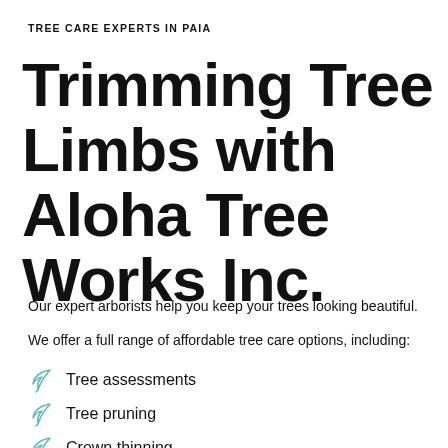TREE CARE EXPERTS IN PAIA
Trimming Tree Limbs with Aloha Tree Works Inc.
Our expert arborists help you keep your trees looking beautiful.
We offer a full range of affordable tree care options, including:
Tree assessments
Tree pruning
Crown thinning
Shrub shaping